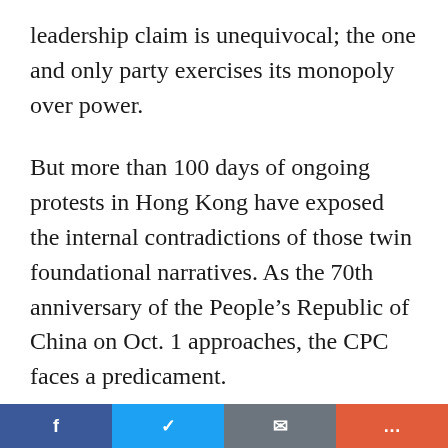leadership claim is unequivocal; the one and only party exercises its monopoly over power.
But more than 100 days of ongoing protests in Hong Kong have exposed the internal contradictions of those twin foundational narratives. As the 70th anniversary of the People's Republic of China on Oct. 1 approaches, the CPC faces a predicament.
Hong Kong enjoys a unique legal framework governing its economy that offers foreign investors a degree of security that is not found on the mainland. Thanks to predictable
f  [twitter icon]  [share icon]  [more icon]